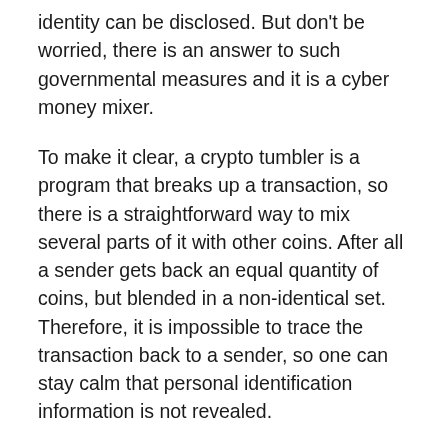identity can be disclosed. But don't be worried, there is an answer to such governmental measures and it is a cyber money mixer.
To make it clear, a crypto tumbler is a program that breaks up a transaction, so there is a straightforward way to mix several parts of it with other coins. After all a sender gets back an equal quantity of coins, but blended in a non-identical set. Therefore, it is impossible to trace the transaction back to a sender, so one can stay calm that personal identification information is not revealed.
Surely all crypto mixing services from the table support no-logs and no-registration policy, these are critical aspects that should not be neglected. Most of the mixing services are used to mix only Bitcoins as the most regular cryptocurrency. Although there are a few crypto mixing platforms that mix other